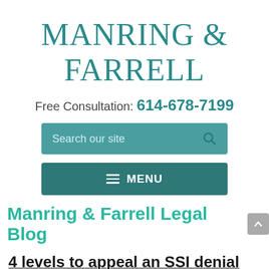MANRING & FARRELL
Free Consultation: 614-678-7199
[Figure (screenshot): Search bar with placeholder text 'Search our site' and a search icon on teal background]
[Figure (screenshot): Navigation menu bar with hamburger icon and 'MENU' text on dark teal background]
Manring & Farrell Legal Blog
4 levels to appeal an SSI denial
On Behalf of Manring & Farrell | Apr 16, 2022 |